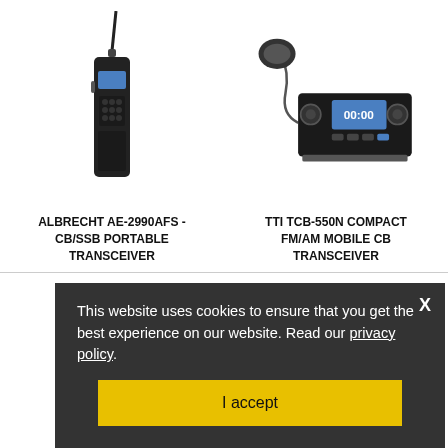[Figure (photo): Albrecht AE-2990AFS handheld CB/SSB portable transceiver radio with antenna]
ALBRECHT AE-2990AFS - CB/SSB PORTABLE TRANSCEIVER
[Figure (photo): TTI TCB-550N compact FM/AM mobile CB transceiver with microphone and blue display]
TTI TCB-550N COMPACT FM/AM MOBILE CB TRANSCEIVER
£299.95
£39.95
This website uses cookies to ensure that you get the best experience on our website. Read our privacy policy.
I accept